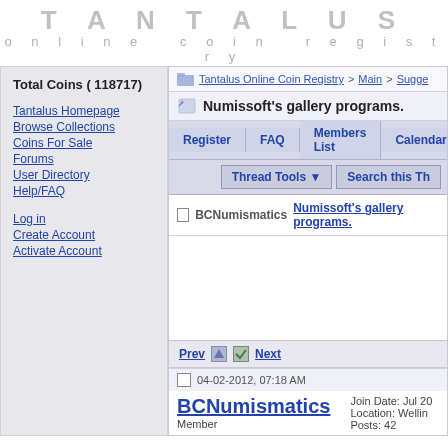TANTALUS
online coin registry
Total Coins ( 118717)
Tantalus Homepage
Browse Collections
Coins For Sale
Forums
User Directory
Help/FAQ
Log in
Create Account
Activate Account
Tantalus Online Coin Registry > Main > Sugge...
Numissoft's gallery programs.
Register  FAQ  Members List  Calendar
Thread Tools  Search this Th...
BCNumismatics Numissoft's gallery programs...
Prev  Next
04-02-2012, 07:18 AM
BCNumismatics
Member
Join Date: Jul 20...
Location: Wellin...
Posts: 42